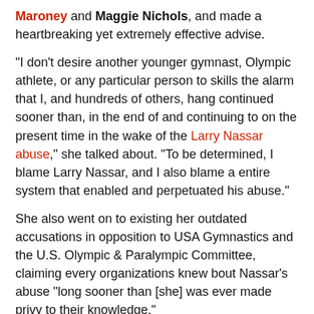Maroney and Maggie Nichols, and made a heartbreaking yet extremely effective advise.
“I don't desire another younger gymnast, Olympic athlete, or any particular person to skills the alarm that I, and hundreds of others, hang continued sooner than, in the end of and continuing to on the present time in the wake of the Larry Nassar abuse,” she talked about. “To be determined, I blame Larry Nassar, and I also blame a entire system that enabled and perpetuated his abuse.”
She also went on to existing her outdated accusations in opposition to USA Gymnastics and the U.S. Olympic & Paralympic Committee, claiming every organizations knew bout Nassar’s abuse “long sooner than [she] was ever made privy to their knowledge.”
Simone was one amongst several ladies who came forward with their possess sexual abuse accusations in opposition to Nassar and in Nov. 2017, he pled responsible to seven counts of first-level criminal sexual going out, with a incarceration the range of 10 t...